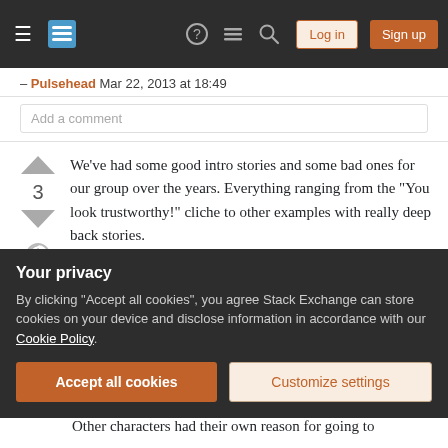Stack Exchange navigation bar with hamburger menu, logo, help, chat, search icons, Log in and Sign up buttons
– Pulsehead Mar 22, 2013 at 18:49
Add a comment
We've had some good intro stories and some bad ones for our group over the years. Everything ranging from the "You look trustworthy!" cliche to other examples with really deep back stories.

When we ran the Shackled City campaign a couple years ago, one of our characters was from a merchant family
Your privacy
By clicking "Accept all cookies", you agree Stack Exchange can store cookies on your device and disclose information in accordance with our Cookie Policy.
Accept all cookies
Customize settings
Other characters had their own reason for going to